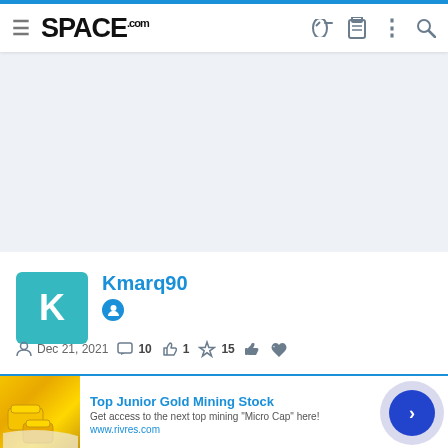SPACE.com navigation bar
[Figure (other): Light blue/gray empty banner advertisement area]
Kmarq90
Dec 21, 2021  10  1  15
[Figure (infographic): Advertisement: Top Junior Gold Mining Stock - Get access to the next top mining 'Micro Cap' here! www.rivres.com]